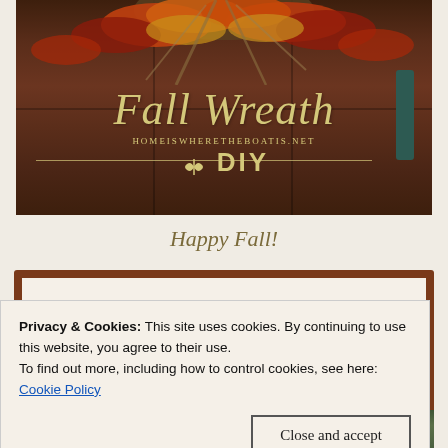[Figure (photo): A dark wooden front door with a fall/autumn wreath made of orange, red, and brown leaves and dried grasses at the top. Overlaid script text reads 'Fall Wreath' in gold/cream cursive, with 'HomeIsWhereTheBoatIs.net' and 'DIY' in matching gold text, plus a decorative leaf divider line.]
Happy Fall!
Privacy & Cookies: This site uses cookies. By continuing to use this website, you agree to their use.
To find out more, including how to control cookies, see here:
Cookie Policy
[Figure (photo): Bottom strip of a wreath photo showing green foliage and white/cream flowers against a dark door background.]